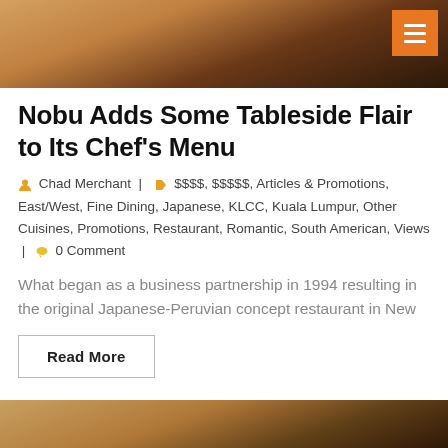[Figure (photo): Top portion of a restaurant interior photo showing a wooden table surface with dark menu covers, partially cropped]
Nobu Adds Some Tableside Flair to Its Chef's Menu
Chad Merchant  |  $$$$, $$$$$, Articles & Promotions, East/West, Fine Dining, Japanese, KLCC, Kuala Lumpur, Other Cuisines, Promotions, Restaurant, Romantic, South American, Views  |  0 Comment
What began as a business partnership in 1994 resulting in the original Japanese-Peruvian concept restaurant in New
Read More
[Figure (photo): Bottom portion of another article's photo, partially visible at bottom of page]